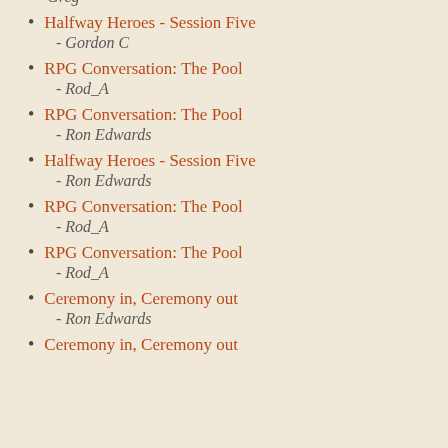- Greg
Halfway Heroes - Session Five
- Gordon C
RPG Conversation: The Pool
- Rod_A
RPG Conversation: The Pool
- Ron Edwards
Halfway Heroes - Session Five
- Ron Edwards
RPG Conversation: The Pool
- Rod_A
RPG Conversation: The Pool
- Rod_A
Ceremony in, Ceremony out
- Ron Edwards
Ceremony in, Ceremony out